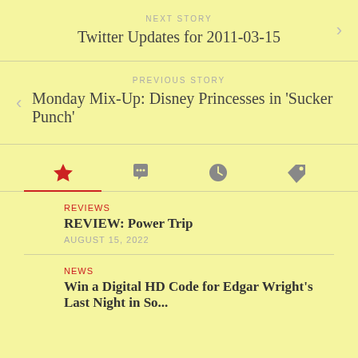NEXT STORY
Twitter Updates for 2011-03-15
PREVIOUS STORY
Monday Mix-Up: Disney Princesses in 'Sucker Punch'
[Figure (infographic): Tab bar with four icons: star (active/red), speech bubble, clock, tag]
REVIEWS
REVIEW: Power Trip
AUGUST 15, 2022
NEWS
Win a Digital HD Code for Edgar Wright's Last Night in So...